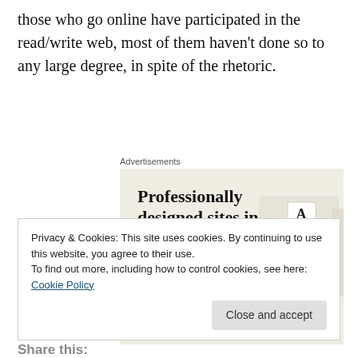those who go online have participated in the read/write web, most of them haven't done so to any large degree, in spite of the rhetoric.
[Figure (infographic): Advertisement for professionally designed websites. Headline reads 'Professionally designed sites in less than a week' with a green 'Explore options' button and a device mockup showing website screens.]
Privacy & Cookies: This site uses cookies. By continuing to use this website, you agree to their use.
To find out more, including how to control cookies, see here: Cookie Policy
Close and accept
Share this: